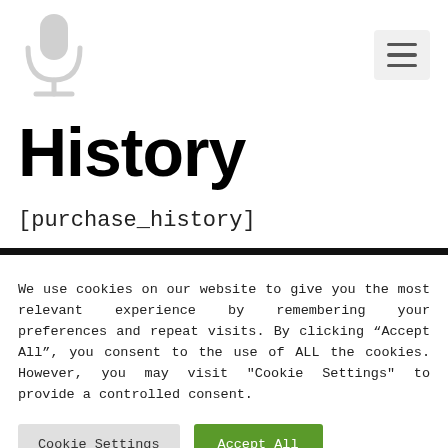[Figure (logo): Microphone silhouette logo icon in light gray]
[Figure (other): Hamburger menu button with three horizontal lines]
History
[purchase_history]
We use cookies on our website to give you the most relevant experience by remembering your preferences and repeat visits. By clicking “Accept All”, you consent to the use of ALL the cookies. However, you may visit "Cookie Settings" to provide a controlled consent.